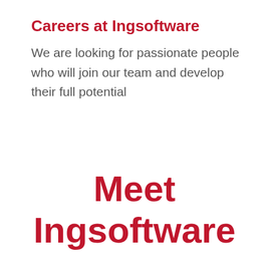Careers at Ingsoftware
We are looking for passionate people who will join our team and develop their full potential
Meet Ingsoftware